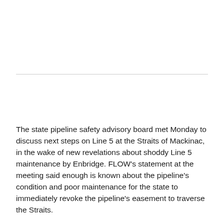The state pipeline safety advisory board met Monday to discuss next steps on Line 5 at the Straits of Mackinac, in the wake of new revelations about shoddy Line 5 maintenance by Enbridge. FLOW's statement at the meeting said enough is known about the pipeline's condition and poor maintenance for the state to immediately revoke the pipeline's easement to traverse the Straits.